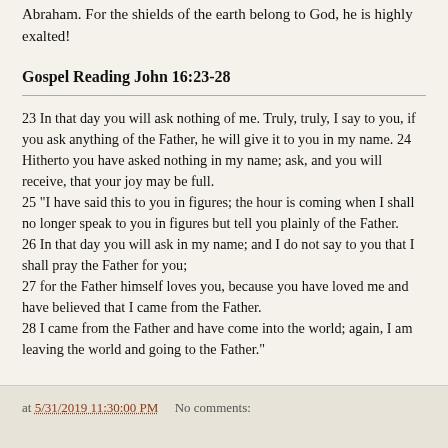Abraham. For the shields of the earth belong to God, he is highly exalted!
Gospel Reading John 16:23-28
23 In that day you will ask nothing of me. Truly, truly, I say to you, if you ask anything of the Father, he will give it to you in my name. 24 Hitherto you have asked nothing in my name; ask, and you will receive, that your joy may be full.
25 "I have said this to you in figures; the hour is coming when I shall no longer speak to you in figures but tell you plainly of the Father.
26 In that day you will ask in my name; and I do not say to you that I shall pray the Father for you;
27 for the Father himself loves you, because you have loved me and have believed that I came from the Father.
28 I came from the Father and have come into the world; again, I am leaving the world and going to the Father."
at 5/31/2019 11:30:00 PM   No comments: